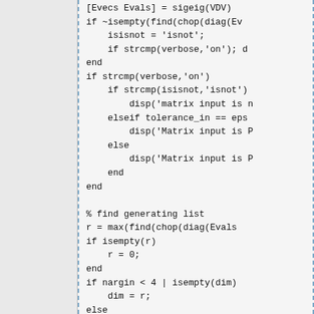[Figure (screenshot): Source code listing in monospace font showing MATLAB/Octave code. Left portion of page is a blank gray panel. Right portion shows code with dashed blue border on both sides. Code includes eigenvalue decomposition, string comparisons, and matrix operations.]